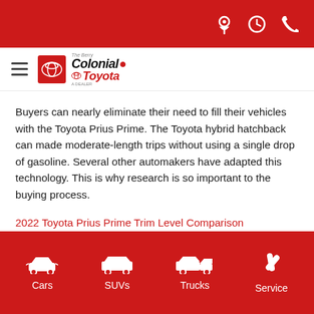Colonial Toyota website header with navigation icons (location, clock, phone)
[Figure (logo): Colonial Toyota logo with hamburger menu, red Toyota badge, and Colonial Toyota wordmark]
Buyers can nearly eliminate their need to fill their vehicles with the Toyota Prius Prime. The Toyota hybrid hatchback can made moderate-length trips without using a single drop of gasoline. Several other automakers have adapted this technology. This is why research is so important to the buying process.
2022 Toyota Prius Prime Trim Level Comparison
2018 Toyota Prius Prime vs. 2018 Nissan Leaf
Cars | SUVs | Trucks | Service